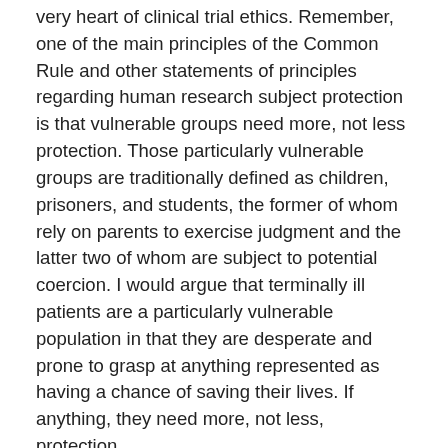very heart of clinical trial ethics. Remember, one of the main principles of the Common Rule and other statements of principles regarding human research subject protection is that vulnerable groups need more, not less protection. Those particularly vulnerable groups are traditionally defined as children, prisoners, and students, the former of whom rely on parents to exercise judgment and the latter two of whom are subject to potential coercion. I would argue that terminally ill patients are a particularly vulnerable population in that they are desperate and prone to grasp at anything represented as having a chance of saving their lives. If anything, they need more, not less, protection.
Basically, HR 4475 is a solution in search of a problem. It's based on the assumption that there are just oodles and oodles of new investigational drugs out there that could save the lives of lots and lots of terminally ill patients, if only the government would get out of the way and let the people have access to